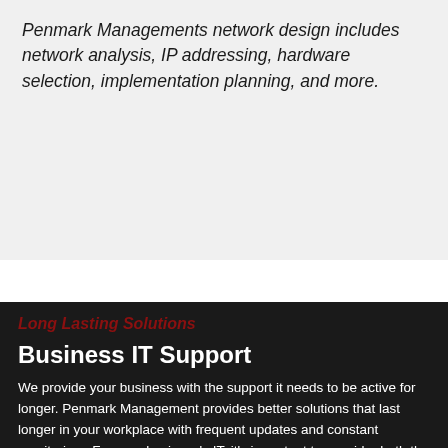Penmark Managements network design includes network analysis, IP addressing, hardware selection, implementation planning, and more.
Long Lasting Solutions
Business IT Support
We provide your business with the support it needs to be active for longer. Penmark Management provides better solutions that last longer in your workplace with frequent updates and constant monitoring.  For your business's IT, it's important to consider both the short term and long term benefits of new technology solutions